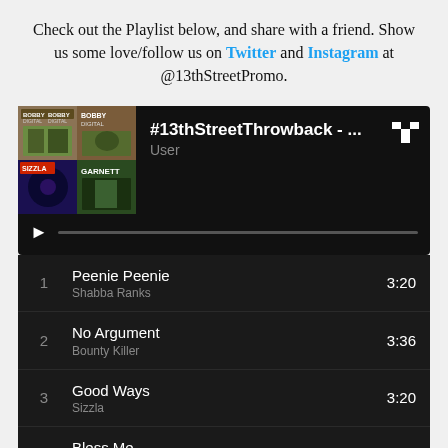Check out the Playlist below, and share with a friend. Show us some love/follow us on Twitter and Instagram at @13thStreetPromo.
[Figure (screenshot): Tidal music player widget showing playlist #13thStreetThrowback with album art and playback controls]
1  Peenie Peenie  Shabba Ranks  3:20
2  No Argument  Bounty Killer  3:36
3  Good Ways  Sizzla  3:20
4  Bless Me  Garnet Silk  3:42
5  Raggy Road  Capleton  3:50